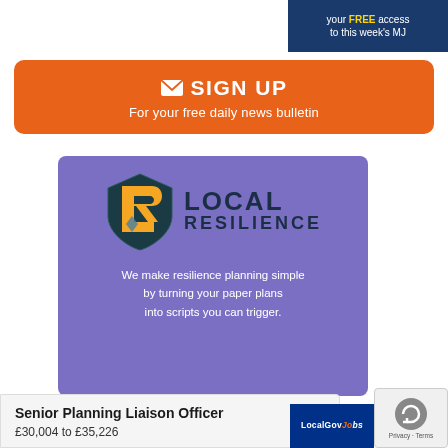[Figure (logo): Top right advertisement banner: dark blue background with text 'your FREE access to this week's MJ']
[Figure (infographic): Orange rounded rectangle sign-up banner with envelope icon, text 'SIGN UP' and 'For your free daily news bulletin']
[Figure (logo): Local Resilience advertisement: purple background with shield logo, LOCAL RESILIENCE text, and tagline 'We make resilience planning simple by turning your paper plans into scripts you can trigger.']
Senior Planning Liaison Officer
£30,004 to £35,226
[Figure (logo): LocalGov jobs logo badge in dark blue]
[Figure (other): reCAPTCHA privacy widget]